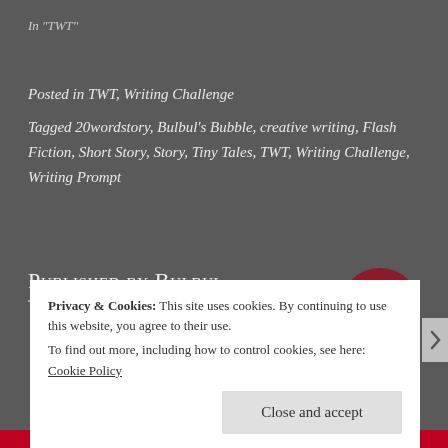In "TWT"
Posted in TWT, Writing Challenge
Tagged 20wordstory, Bulbul's Bubble, creative writing, Flash Fiction, Short Story, Story, Tiny Tales, TWT, Writing Challenge, Writing Prompt
Published by Bulbul
[Figure (logo): Bulbul's Bubble logo: dark red circle with stylized double-B monogram and text 'Bulbul's Bubble']
Privacy & Cookies: This site uses cookies. By continuing to use this website, you agree to their use.
To find out more, including how to control cookies, see here: Cookie Policy
Close and accept